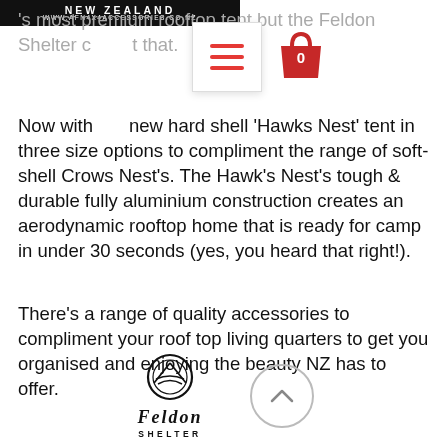NEW ZEALAND | WWW.AFN4X4ACCESSORIES.CO.NZ
[Figure (screenshot): Hamburger menu icon (three red horizontal lines on white box) and red shopping bag cart icon with '0' count]
's most premium rooftop tent but the Feldon Shelter c t that.
Now with new hard shell 'Hawks Nest' tent in three size options to compliment the range of soft-shell Crows Nest's. The Hawk's Nest's tough & durable fully aluminium construction creates an aerodynamic rooftop home that is ready for camp in under 30 seconds (yes, you heard that right!).
There's a range of quality accessories to compliment your roof top living quarters to get you organised and enjoying the beauty NZ has to offer.
[Figure (logo): Feldon Shelter logo — circular emblem above FELDON SHELTER text in serif font]
[Figure (other): Back-to-top chevron button — circle with upward arrow/chevron]